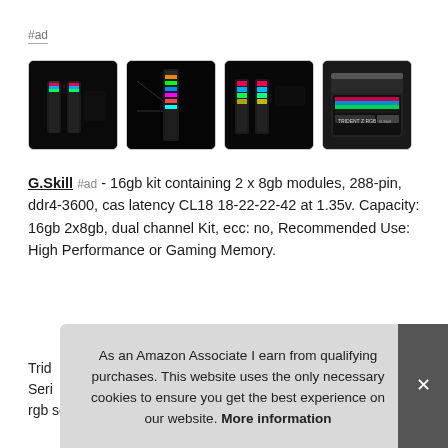#ad
[Figure (photo): Four thumbnail images of G.Skill Trident Z RGB DDR4 RAM modules and product box]
G.Skill #ad - 16gb kit containing 2 x 8gb modules, 288-pin, ddr4-3600, cas latency CL18 18-22-22-42 at 1.35v. Capacity: 16gb 2x8gb, dual channel Kit, ecc: no, Recommended Use: High Performance or Gaming Memory.
Trid
Seri
rgb series, model: F4-3600C18D-16GTZR.
As an Amazon Associate I earn from qualifying purchases. This website uses the only necessary cookies to ensure you get the best experience on our website. More information